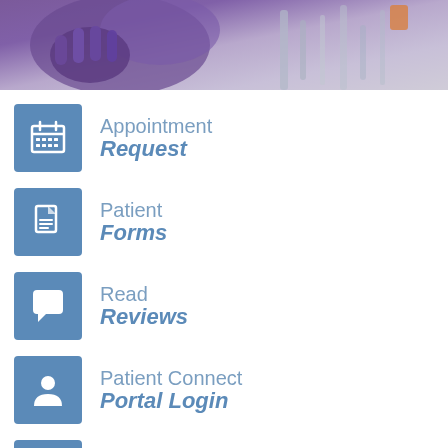[Figure (photo): Medical/dental office equipment photo showing purple gloves and equipment in a clinical setting]
Appointment Request
Patient Forms
Read Reviews
Patient Connect Portal Login
Make a